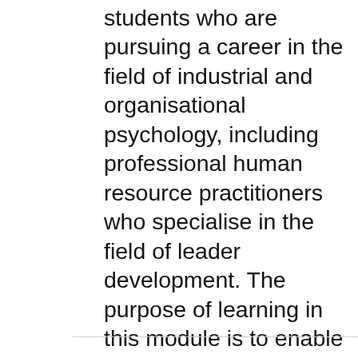students who are pursuing a career in the field of industrial and organisational psychology, including professional human resource practitioners who specialise in the field of leader development. The purpose of learning in this module is to enable students to develop a well-rounded knowledge base of the principles and theories of leader behaviour in an organisational context for the purpose of evaluating and developing leader behaviour for improved organisational effectiveness.